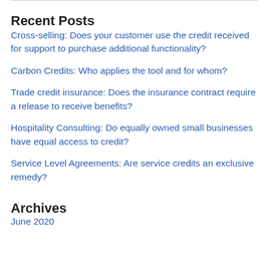Recent Posts
Cross-selling: Does your customer use the credit received for support to purchase additional functionality?
Carbon Credits: Who applies the tool and for whom?
Trade credit insurance: Does the insurance contract require a release to receive benefits?
Hospitality Consulting: Do equally owned small businesses have equal access to credit?
Service Level Agreements: Are service credits an exclusive remedy?
Archives
June 2020